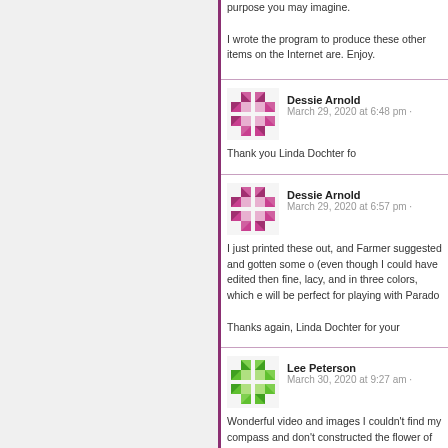purpose you may imagine.

I wrote the program to produce these other items on the Internet are. Enjoy.
Dessie Arnold
March 29, 2020 at 6:48 pm

Thank you Linda Dochter fo
Dessie Arnold
March 29, 2020 at 6:57 pm

I just printed these out, and Farmer suggested and gotten some o (even though I could have edited then fine, lacy, and in three colors, which e will be perfect for playing with Parado

Thanks again, Linda Dochter for your
Lee Peterson
March 30, 2020 at 9:27 am

Wonderful video and images I couldn't find my compass and don't constructed the flower of life string wi scrapbook punch, a pencil, and a rule